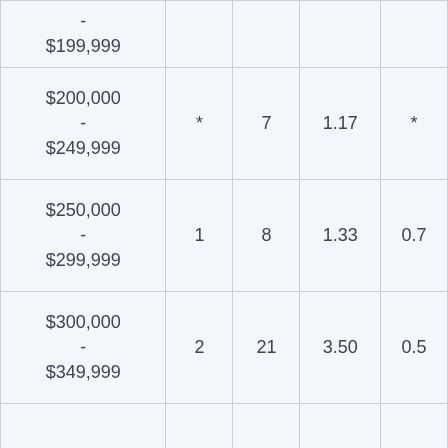| Income Range | Col2 | Col3 | Col4 | Col5 |
| --- | --- | --- | --- | --- |
| - $199,999 |  |  |  |  |
| $200,000 - $249,999 | * | 7 | 1.17 | * |
| $250,000 - $299,999 | 1 | 8 | 1.33 | 0.7 |
| $300,000 - $349,999 | 2 | 21 | 3.50 | 0.5 |
| ... |  |  |  |  |